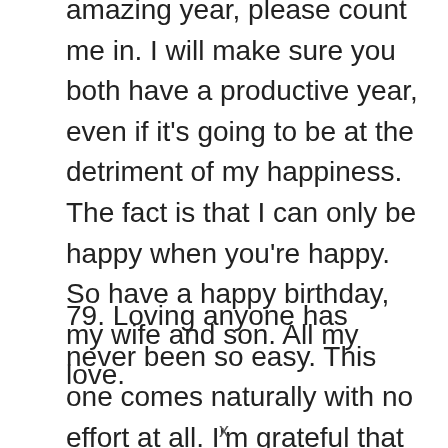amazing year, please count me in. I will make sure you both have a productive year, even if it's going to be at the detriment of my happiness. The fact is that I can only be happy when you're happy. So have a happy birthday, my wife and son. All my love.
79. Loving anyone has never been so easy. This one comes naturally with no effort at all. I'm grateful that such wonderful people as you, are present in my life. Not just as a people, but as my wife and son. Others don't know how lucky
x